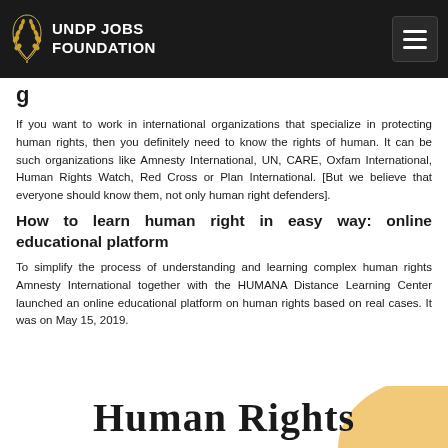UNDP JOBS FOUNDATION
If you want to work in international organizations that specialize in protecting human rights, then you definitely need to know the rights of human. It can be such organizations like Amnesty International, UN, CARE, Oxfam International, Human Rights Watch, Red Cross or Plan International. [But we believe that everyone should know them, not only human right defenders].
How to learn human right in easy way: online educational platform
To simplify the process of understanding and learning complex human rights Amnesty International together with the HUMANA Distance Learning Center launched an online educational platform on human rights based on real cases. It was on May 15, 2019.
Human Rights